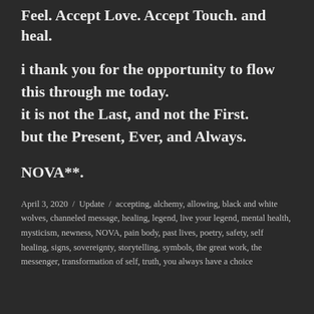Feel. Accept Love. Accept Touch. and heal.
i thank you for the opportunity to flow this through me today.
it is not the Last, and not the First.
but the Present, Ever, and Always.
NOVA**.
April 3, 2020 / Update / accepting, alchemy, allowing, black and white wolves, channeled message, healing, legend, live your legend, mental health, mysticism, newness, NOVA, pain body, past lives, poetry, safety, self healing, signs, sovereignty, storytelling, symbols, the great work, the messenger, transformation of self, truth, you always have a choice